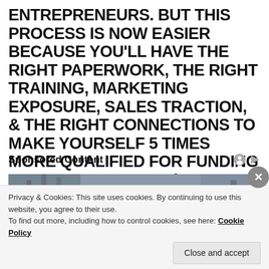ENTREPRENEURS. BUT THIS PROCESS IS NOW EASIER BECAUSE YOU'LL HAVE THE RIGHT PAPERWORK, THE RIGHT TRAINING, MARKETING EXPOSURE, SALES TRACTION, & THE RIGHT CONNECTIONS TO MAKE YOURSELF 5 TIMES MORE QUALIFIED FOR FUNDING THAN EVER BEFORE!)
Sponsored Content
[Figure (photo): A construction worker wearing a yellow hard hat, blurred background of a construction site]
Privacy & Cookies: This site uses cookies. By continuing to use this website, you agree to their use.
To find out more, including how to control cookies, see here: Cookie Policy
Close and accept